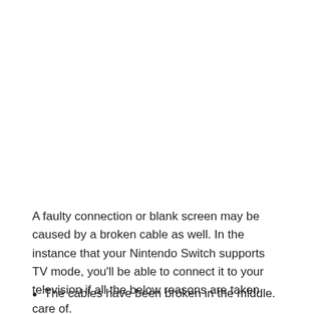A faulty connection or blank screen may be caused by a broken cable as well. In the instance that your Nintendo Switch supports TV mode, you'll be able to connect it to your television if all the below reasons are taken care of.
The cables have been broken in the middle.